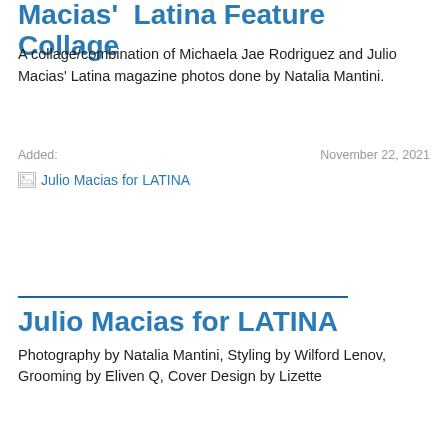Macias' Latina Feature Collage
A collage/combination of Michaela Jae Rodriguez and Julio Macias' Latina magazine photos done by Natalia Mantini.
Added:   November 22, 2021
[Figure (photo): Broken image placeholder linked as 'Julio Macias for LATINA']
Julio Macias for LATINA
Photography by Natalia Mantini, Styling by Wilford Lenov, Grooming by Eliven Q, Cover Design by Lizette